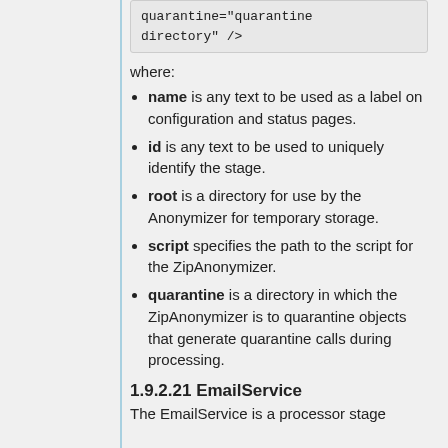[Figure (screenshot): Code snippet showing quarantine directory configuration: quarantine= quarantine directory" />]
where:
name is any text to be used as a label on configuration and status pages.
id is any text to be used to uniquely identify the stage.
root is a directory for use by the Anonymizer for temporary storage.
script specifies the path to the script for the ZipAnonymizer.
quarantine is a directory in which the ZipAnonymizer is to quarantine objects that generate quarantine calls during processing.
1.9.2.21 EmailService
The EmailService is a processor stage